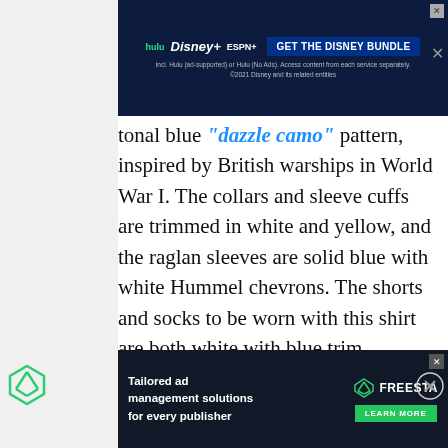[Figure (screenshot): Hulu Disney+ ESPN+ ad banner: GET THE DISNEY BUNDLE. Incl. Hulu (ad-supported) or Hulu (No Ads). Access content from each service separately. ©2021 Disney and its related entities]
tonal blue "dazzle camo" pattern, inspired by British warships in World War I. The collars and sleeve cuffs are trimmed in white and yellow, and the raglan sleeves are solid blue with white Hummel chevrons. The shorts and socks to be worn with this shirt are both white with blue trim.
[Figure (photo): Blue soccer/football jersey with dazzle camo pattern and yellow collar trim. Watermark: WWW.FOOTYHEADLINES.COM]
[Figure (screenshot): Freesta ad: Tailored ad management solutions for every publisher. LEARN MORE button.]